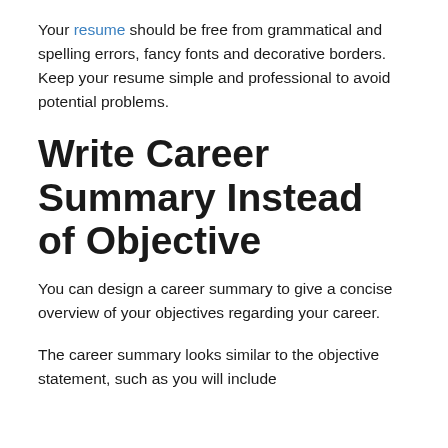Your resume should be free from grammatical and spelling errors, fancy fonts and decorative borders. Keep your resume simple and professional to avoid potential problems.
Write Career Summary Instead of Objective
You can design a career summary to give a concise overview of your objectives regarding your career.
The career summary looks similar to the objective statement, such as you will include